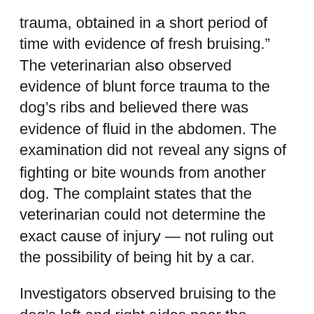trauma, obtained in a short period of time with evidence of fresh bruising.” The veterinarian also observed evidence of blunt force trauma to the dog’s ribs and believed there was evidence of fluid in the abdomen. The examination did not reveal any signs of fighting or bite wounds from another dog. The complaint states that the veterinarian could not determine the exact cause of injury — not ruling out the possibility of being hit by a car.
Investigators observed bruising to the dog’s left and right sides near the stomach, bruising and red marks to the dog’s throat and bruising near